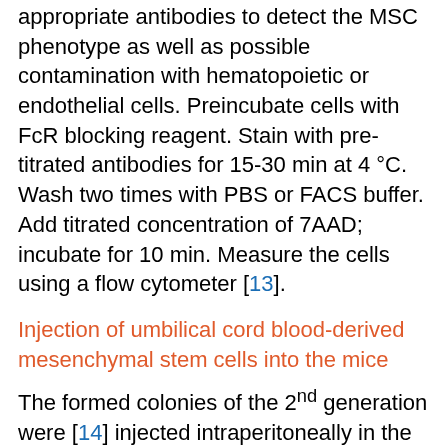appropriate antibodies to detect the MSC phenotype as well as possible contamination with hematopoietic or endothelial cells. Preincubate cells with FcR blocking reagent. Stain with pre-titrated antibodies for 15-30 min at 4 °C. Wash two times with PBS or FACS buffer. Add titrated concentration of 7AAD; incubate for 10 min. Measure the cells using a flow cytometer [13].
Injection of umbilical cord blood-derived mesenchymal stem cells into the mice
The formed colonies of the 2nd generation were [14] injected intraperitoneally in the group that treated with MSCs.
Preparation of drugs before and after induction of infertility in male mice
Cyclophosphamide (CP) or Endoxan
20 mg/kg.b.w. of CP were dissolved in 150 ul (high